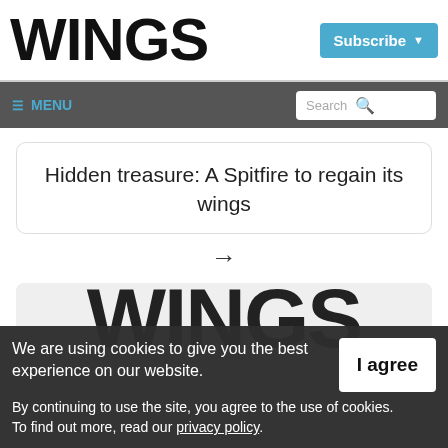WINGS
Hidden treasure: A Spitfire to regain its wings
→
[Figure (logo): WINGS logo large text in footer area]
We are using cookies to give you the best experience on our website. By continuing to use the site, you agree to the use of cookies. To find out more, read our privacy policy.